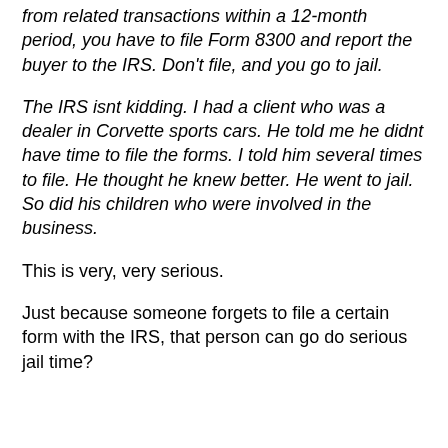from related transactions within a 12-month period, you have to file Form 8300 and report the buyer to the IRS. Don't file, and you go to jail.
The IRS isnt kidding. I had a client who was a dealer in Corvette sports cars. He told me he didnt have time to file the forms. I told him several times to file. He thought he knew better. He went to jail. So did his children who were involved in the business.
This is very, very serious.
Just because someone forgets to file a certain form with the IRS, that person can go do serious jail time?